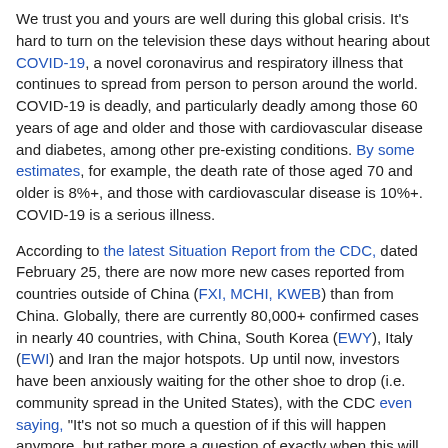We trust you and yours are well during this global crisis. It's hard to turn on the television these days without hearing about COVID-19, a novel coronavirus and respiratory illness that continues to spread from person to person around the world. COVID-19 is deadly, and particularly deadly among those 60 years of age and older and those with cardiovascular disease and diabetes, among other pre-existing conditions. By some estimates, for example, the death rate of those aged 70 and older is 8%+, and those with cardiovascular disease is 10%+. COVID-19 is a serious illness.
According to the latest Situation Report from the CDC, dated February 25, there are now more new cases reported from countries outside of China (FXI, MCHI, KWEB) than from China. Globally, there are currently 80,000+ confirmed cases in nearly 40 countries, with China, South Korea (EWY), Italy (EWI) and Iran the major hotspots. Up until now, investors have been anxiously waiting for the other shoe to drop (i.e. community spread in the United States), with the CDC even saying, "It's not so much a question of if this will happen anymore, but rather more a question of exactly when this will happen and how many people in this country (United States) will have severe illness."
Well, that "when" is now. The CDC just confirmed February 26, 2020, a possible instance of community spread of COVID-19 in the US: